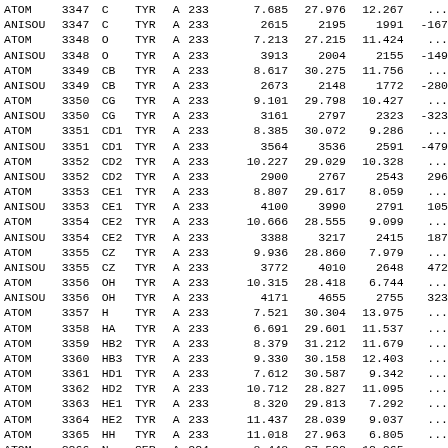| ATOM | 3347 | C | TYR | A | 233 | 7.685 | 27.976 | 12.267 | ... |
| ANISOU | 3347 | C | TYR | A | 233 | 2615 | 2195 | 1991 | -167 |
| ATOM | 3348 | O | TYR | A | 233 | 7.213 | 27.215 | 11.424 | ... |
| ANISOU | 3348 | O | TYR | A | 233 | 3913 | 2004 | 2155 | -149 |
| ATOM | 3349 | CB | TYR | A | 233 | 8.617 | 30.275 | 11.756 | ... |
| ANISOU | 3349 | CB | TYR | A | 233 | 2673 | 2148 | 1772 | -280 |
| ATOM | 3350 | CG | TYR | A | 233 | 9.101 | 29.798 | 10.427 | ... |
| ANISOU | 3350 | CG | TYR | A | 233 | 3161 | 2797 | 2323 | -323 |
| ATOM | 3351 | CD1 | TYR | A | 233 | 8.385 | 30.072 | 9.286 | ... |
| ANISOU | 3351 | CD1 | TYR | A | 233 | 3564 | 3536 | 2591 | -479 |
| ATOM | 3352 | CD2 | TYR | A | 233 | 10.227 | 29.029 | 10.328 | ... |
| ANISOU | 3352 | CD2 | TYR | A | 233 | 2900 | 2767 | 2543 | 296 |
| ATOM | 3353 | CE1 | TYR | A | 233 | 8.807 | 29.617 | 8.059 | ... |
| ANISOU | 3353 | CE1 | TYR | A | 233 | 4100 | 3990 | 2791 | 105 |
| ATOM | 3354 | CE2 | TYR | A | 233 | 10.666 | 28.555 | 9.099 | ... |
| ANISOU | 3354 | CE2 | TYR | A | 233 | 3388 | 3217 | 2415 | 187 |
| ATOM | 3355 | CZ | TYR | A | 233 | 9.936 | 28.860 | 7.979 | ... |
| ANISOU | 3355 | CZ | TYR | A | 233 | 3772 | 4010 | 2648 | 472 |
| ATOM | 3356 | OH | TYR | A | 233 | 10.315 | 28.418 | 6.744 | ... |
| ANISOU | 3356 | OH | TYR | A | 233 | 4171 | 4655 | 2755 | 323 |
| ATOM | 3357 | H | TYR | A | 233 | 7.521 | 30.304 | 13.975 | ... |
| ATOM | 3358 | HA | TYR | A | 233 | 6.691 | 29.601 | 11.537 | ... |
| ATOM | 3359 | HB2 | TYR | A | 233 | 8.379 | 31.212 | 11.679 | ... |
| ATOM | 3360 | HB3 | TYR | A | 233 | 9.330 | 30.158 | 12.403 | ... |
| ATOM | 3361 | HD1 | TYR | A | 233 | 7.612 | 30.587 | 9.342 | ... |
| ATOM | 3362 | HD2 | TYR | A | 233 | 10.712 | 28.827 | 11.095 | ... |
| ATOM | 3363 | HE1 | TYR | A | 233 | 8.320 | 29.813 | 7.292 | ... |
| ATOM | 3364 | HE2 | TYR | A | 233 | 11.437 | 28.039 | 9.037 | ... |
| ATOM | 3365 | HH | TYR | A | 233 | 11.018 | 27.963 | 6.805 | ... |
| ATOM | 3366 | N | SER | A | 234 | 8.448 | 27.533 | 13.265 | ... |